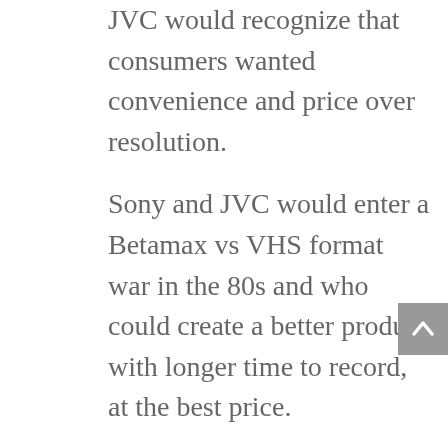JVC would recognize that consumers wanted convenience and price over resolution.
Sony and JVC would enter a Betamax vs VHS format war in the 80s and who could create a better product with longer time to record, at the best price.
VHS recorders would allow you to record and copy a full-length movie from your television to the VCR.
Are Betamax Tapes Worth Anything?
Like anything nowadays, some